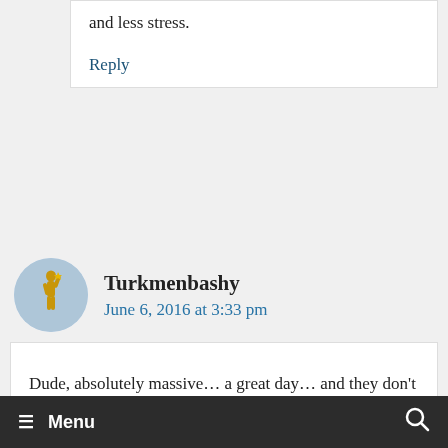and less stress.
Reply
Turkmenbashy
June 6, 2016 at 3:33 pm
Dude, absolutely massive… a great day… and they don't even have to do it in the US all the time… they could alternate (one year in, one year out) and
≡ Menu  🔍